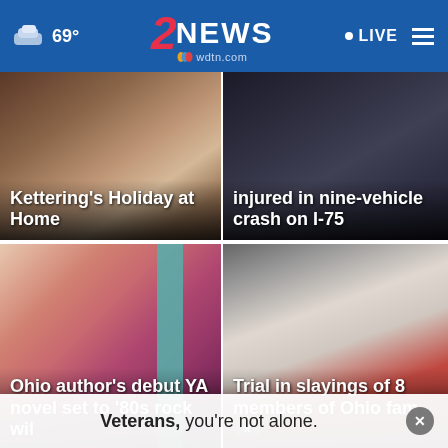69° 2 NEWS wdtn.com LIVE
[Figure (screenshot): News thumbnail: Kettering's Holiday at Home - woman with floral background]
[Figure (screenshot): News thumbnail: injured in nine-vehicle crash on I-75 - nighttime crash scene]
[Figure (screenshot): News thumbnail: Ohio author's debut YA novel set to '80s rock wil... - woman with book spine]
[Figure (screenshot): News thumbnail: Trial in slayings of 8 members of Ohio fam... - man in red shirt in courtroom]
Veterans, you're not alone.